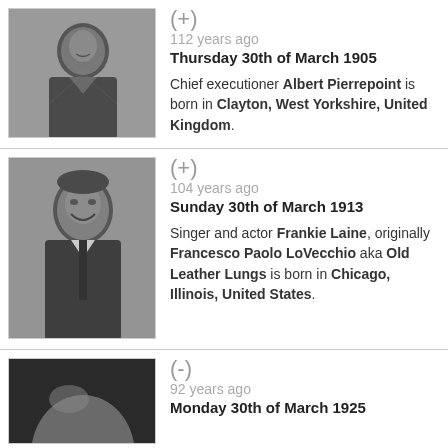[Figure (photo): Black and white photograph of Albert Pierrepoint, an older man in a suit, smiling slightly]
(+)
112 years ago
Thursday 30th of March 1905

Chief executioner Albert Pierrepoint is born in Clayton, West Yorkshire, United Kingdom.
[Figure (photo): Black and white photograph of Frankie Laine, a middle-aged man in a suit and tie, smiling]
(+)
104 years ago
Sunday 30th of March 1913

Singer and actor Frankie Laine, originally Francesco Paolo LoVecchio aka Old Leather Lungs is born in Chicago, Illinois, United States.
[Figure (photo): Black and white photograph, partially visible, showing a bald head]
(-)
92 years ago
Monday 30th of March 1925